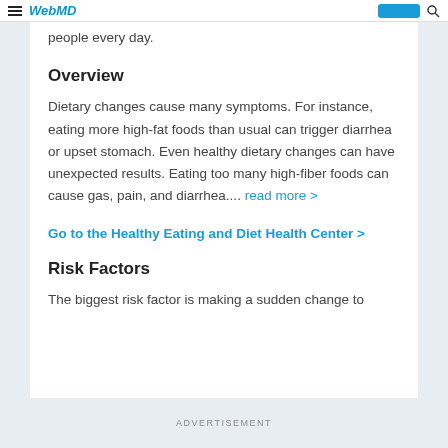WebMD
people every day.
Overview
Dietary changes cause many symptoms. For instance, eating more high-fat foods than usual can trigger diarrhea or upset stomach. Even healthy dietary changes can have unexpected results. Eating too many high-fiber foods can cause gas, pain, and diarrhea.... read more >
Go to the Healthy Eating and Diet Health Center >
Risk Factors
The biggest risk factor is making a sudden change to
ADVERTISEMENT